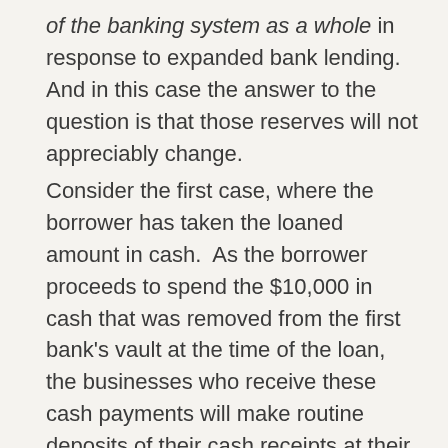of the banking system as a whole in response to expanded bank lending.  And in this case the answer to the question is that those reserves will not appreciably change.
Consider the first case, where the borrower has taken the loaned amount in cash.  As the borrower proceeds to spend the $10,000 in cash that was removed from the first bank's vault at the time of the loan, the businesses who receive these cash payments will make routine deposits of their cash receipts at their own banks, at which point it goes back into the cash vaults in the banking system.  Similarly, if the borrower's funds are in the form of a deposit account balance, then as the borrower makes payments by check, debit card or other instrument against that account, the clearing of the payments will result in reserve transfers from the